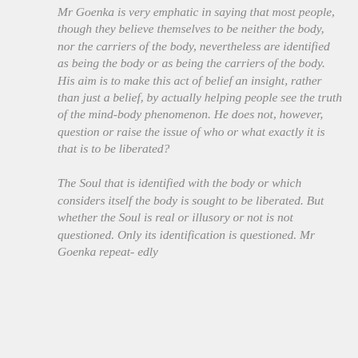Mr Goenka is very emphatic in saying that most people, though they believe themselves to be neither the body, nor the carriers of the body, nevertheless are identified as being the body or as being the carriers of the body. His aim is to make this act of belief an insight, rather than just a belief, by actually helping people see the truth of the mind-body phenomenon. He does not, however, question or raise the issue of who or what exactly it is that is to be liberated?
The Soul that is identified with the body or which considers itself the body is sought to be liberated. But whether the Soul is real or illusory or not is not questioned. Only its identification is questioned. Mr Goenka repeat- edly